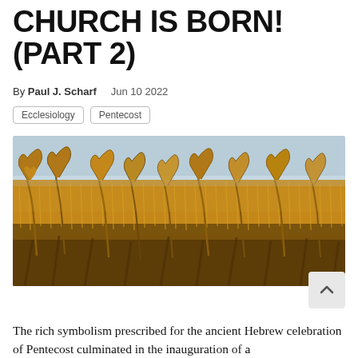CHURCH IS BORN! (PART 2)
By Paul J. Scharf   Jun 10 2022
Ecclesiology
Pentecost
[Figure (photo): Close-up photograph of a golden wheat field under a light blue sky, with tall wheat stalks filling the frame]
The rich symbolism prescribed for the ancient Hebrew celebration of Pentecost culminated in the inauguration of a